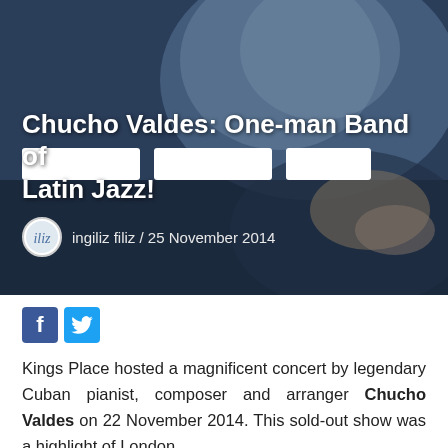[Figure (photo): Hero image of Chucho Valdes seated at a piano, wearing a blue floral shirt, with dark background overlay and navigation pills]
Chucho Valdes: One-man Band of Latin Jazz!
ingiliz filiz / 25 November 2014
[Figure (infographic): Social share buttons: Facebook (blue f icon) and Twitter (blue bird icon)]
Kings Place hosted a magnificent concert by legendary Cuban pianist, composer and arranger Chucho Valdes on 22 November 2014. This sold-out show was a highlight of London